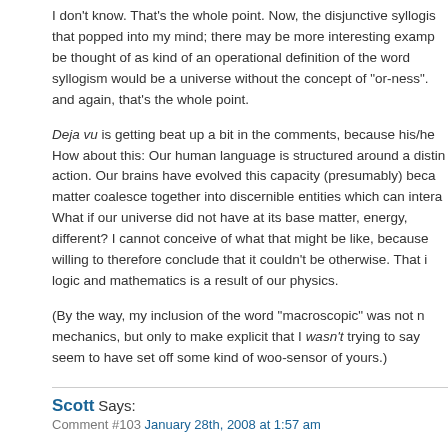I don't know. That's the whole point. Now, the disjunctive syllogism that popped into my mind; there may be more interesting examples. It can be thought of as kind of an operational definition of the word "or". A syllogism would be a universe without the concept of "or-ness". And again, that's the whole point.
Deja vu is getting beat up a bit in the comments, because his/her... How about this: Our human language is structured around a distinction. action. Our brains have evolved this capacity (presumably) because matter coalesce together into discernible entities which can interact. What if our universe did not have at its base matter, energy, different? I cannot conceive of what that might be like, because willing to therefore conclude that it couldn't be otherwise. That logic and mathematics is a result of our physics.
(By the way, my inclusion of the word "macroscopic" was not mechanics, but only to make explicit that I wasn't trying to say seem to have set off some kind of woo-sensor of yours.)
Scott Says:
Comment #103 January 28th, 2008 at 1:57 am